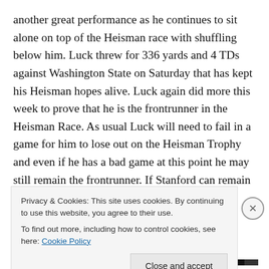another great performance as he continues to sit alone on top of the Heisman race with shuffling below him. Luck threw for 336 yards and 4 TDs against Washington State on Saturday that has kept his Heisman hopes alive. Luck again did more this week to prove that he is the frontrunner in the Heisman Race. As usual Luck will need to fail in a game for him to lose out on the Heisman Trophy and even if he has a bad game at this point he may still remain the frontrunner. If Stanford can remain undefeated and Luck can continue to lead them with great performances there is no question that he will take home
Privacy & Cookies: This site uses cookies. By continuing to use this website, you agree to their use.
To find out more, including how to control cookies, see here: Cookie Policy